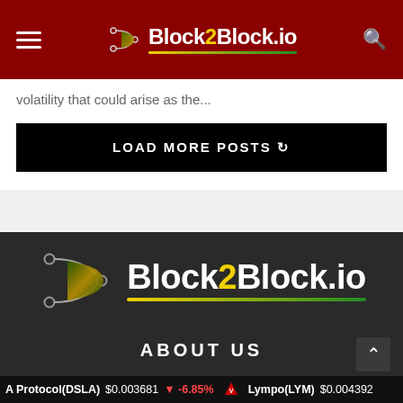Block2Block.io
volatility that could arise as the...
LOAD MORE POSTS
[Figure (logo): Block2Block.io logo with stylized B icon, white text on dark background]
ABOUT US
A Protocol(DSLA) $0.003681 -6.85% Lympo(LYM) $0.004392